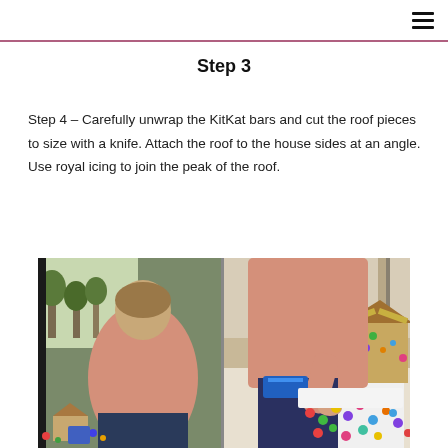☰
Step 3
Step 4 – Carefully unwrap the KitKat bars and cut the roof pieces to size with a knife. Attach the roof to the house sides at an angle. Use royal icing to join the peak of the roof.
[Figure (photo): Two side-by-side photos of a woman in a pink sweater working on a gingerbread house craft project. Left photo shows her working at a table near a window with trees outside. Right photo shows a small decorated gingerbread house and colourful candies on the table.]